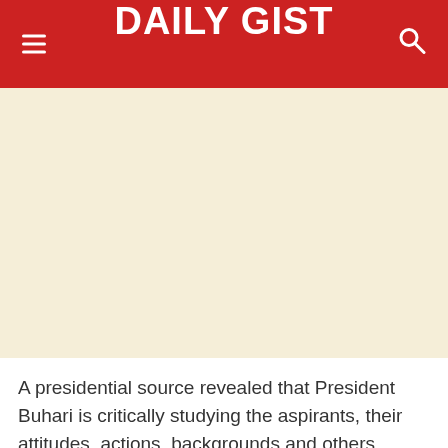DAILY GIST
[Figure (other): Large image area with cream/beige background, appears to be a placeholder or partially loaded image]
A presidential source revealed that President Buhari is critically studying the aspirants, their attitudes, actions, backgrounds and others before either making his